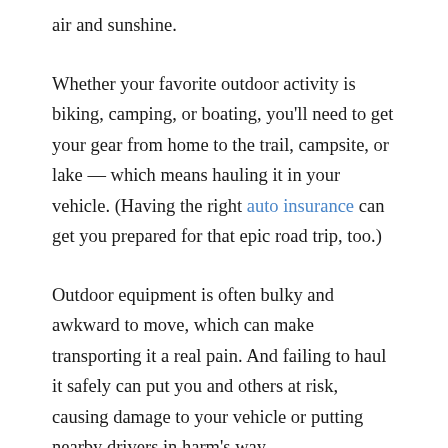air and sunshine.
Whether your favorite outdoor activity is biking, camping, or boating, you'll need to get your gear from home to the trail, campsite, or lake — which means hauling it in your vehicle. (Having the right auto insurance can get you prepared for that epic road trip, too.)
Outdoor equipment is often bulky and awkward to move, which can make transporting it a real pain. And failing to haul it safely can put you and others at risk, causing damage to your vehicle or putting nearby drivers in harm's way.
To help you safely and securely transport all your favorite